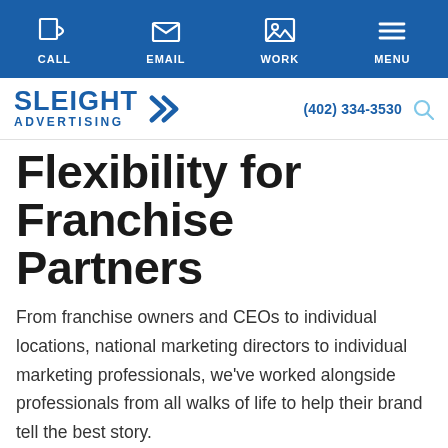CALL  EMAIL  WORK  MENU
[Figure (logo): Sleight Advertising logo with double chevron arrows in blue, phone number (402) 334-3530, and search icon]
Flexibility for Franchise Partners
From franchise owners and CEOs to individual locations, national marketing directors to individual marketing professionals, we've worked alongside professionals from all walks of life to help their brand tell the best story.